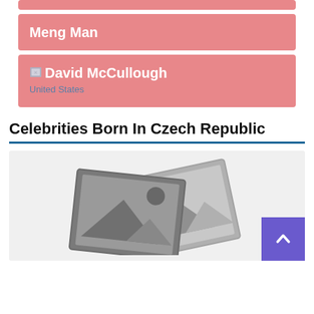[Figure (other): Pink card placeholder (top bar, partial)]
Meng Man
David McCullough
United States
Celebrities Born In Czech Republic
[Figure (photo): Image placeholder with stacked photo icon and a purple scroll-to-top button in the bottom right corner]